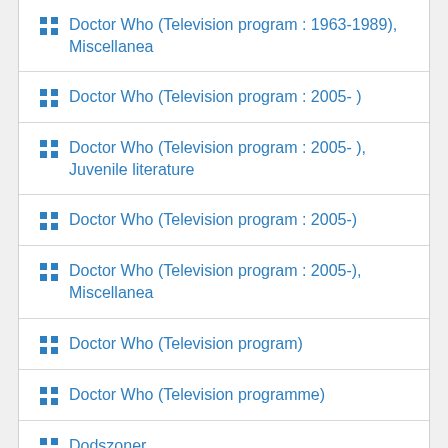Doctor Who (Television program : 1963-1989), Miscellanea
Doctor Who (Television program : 2005- )
Doctor Who (Television program : 2005- ), Juvenile literature
Doctor Who (Television program : 2005-)
Doctor Who (Television program : 2005-), Miscellanea
Doctor Who (Television program)
Doctor Who (Television programme)
Dodszoner
Dog house (Television program)